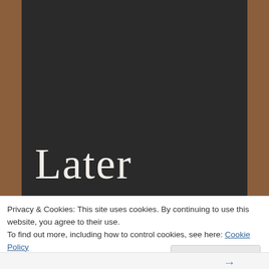[Figure (screenshot): Chalkboard-style book cover or blog post image with dark background and wood frame. Shows the word 'Later' in chalk handwriting style, followed by italic bold quote text.]
Later
There is a rising sense of panic; horror hanging in the air like smoke.
Privacy & Cookies: This site uses cookies. By continuing to use this website, you agree to their use.
To find out more, including how to control cookies, see here: Cookie Policy
Close and accept